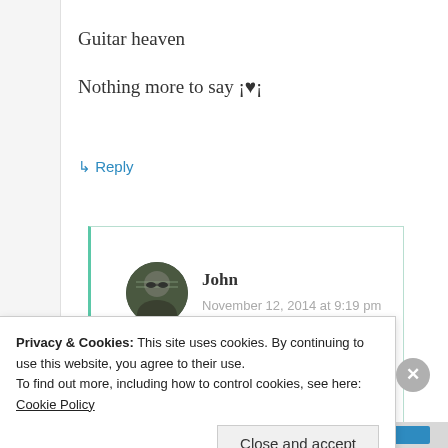Guitar heaven
Nothing more to say ¡♥¡
↳ Reply
[Figure (photo): Circular avatar photo of user John, showing a person with sunglasses outdoors]
John
November 12, 2014 at 9:19 pm
Thanks for commenting. My
Privacy & Cookies: This site uses cookies. By continuing to use this website, you agree to their use.
To find out more, including how to control cookies, see here: Cookie Policy
Close and accept